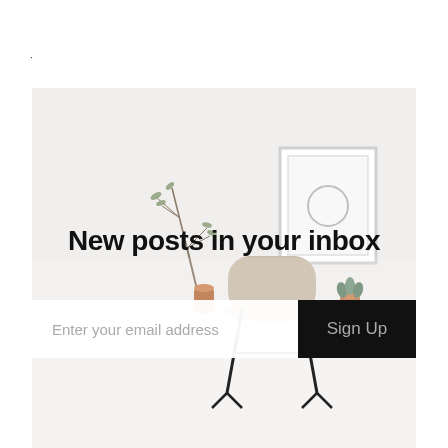·
[Figure (photo): Minimalist desk scene with white background, a thin branch in a vase, a white picture frame with a circle on the wall, a copper/gold vase, a small plant in a copper pot, and a beige/tan molded chair — all on a white desk surface]
New posts in your inbox
Enter your email address
Sign Up